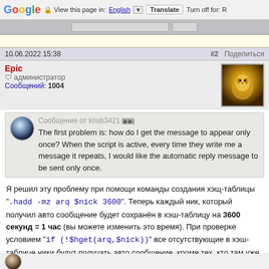Google  View this page in: English [▼]  Translate  Turn off for: R
10.06.2022 15:38   #2  Поделиться
Epic
администратор
Сообщений: 1004
Сообщение от krisb3421 — The first problem is: how do I get the message to appear only once? When the script is active, every time they write me a message it repeats, I would like the automatic reply message to be sent only once.
Я решил эту проблему при помощи команды создания хэщ-таблицы ".hadd -mz arq $nick 3600". Теперь каждый ник, который получил авто сообщение будет сохранён в хэш-таблицу на 3600 секунд = 1 час (вы можете изменить это время). При проверке условием "if (!$hget(arq,$nick))" все отсутствующие в хэш-таблице ники будут получать авто сообщение, кроме тех, кто там уже записан.